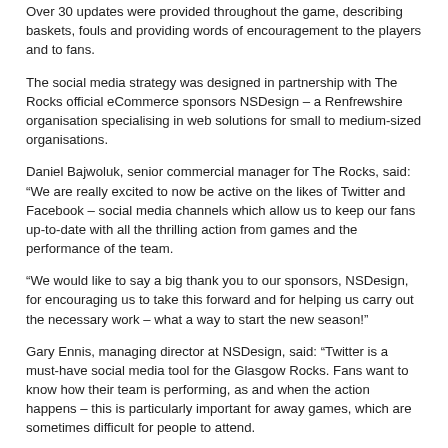Over 30 updates were provided throughout the game, describing baskets, fouls and providing words of encouragement to the players and to fans.
The social media strategy was designed in partnership with The Rocks official eCommerce sponsors NSDesign – a Renfrewshire organisation specialising in web solutions for small to medium-sized organisations.
Daniel Bajwoluk, senior commercial manager for The Rocks, said: “We are really excited to now be active on the likes of Twitter and Facebook – social media channels which allow us to keep our fans up-to-date with all the thrilling action from games and the performance of the team.
“We would like to say a big thank you to our sponsors, NSDesign, for encouraging us to take this forward and for helping us carry out the necessary work – what a way to start the new season!”
Gary Ennis, managing director at NSDesign, said: “Twitter is a must-have social media tool for the Glasgow Rocks. Fans want to know how their team is performing, as and when the action happens – this is particularly important for away games, which are sometimes difficult for people to attend.
“We are delighted to renew our e-commerce sponsorship with the